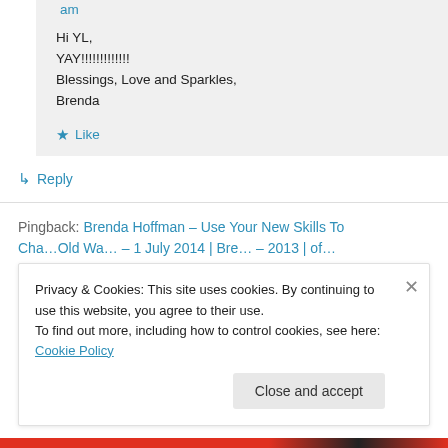am
Hi YL,
YAY!!!!!!!!!!!!!
Blessings, Love and Sparkles,
Brenda
★ Like
↳ Reply
Pingback: Brenda Hoffman – Use Your New Skills To
Cha…Old Wa… – 1 July 2014 | Bre… – 2013 | of…
Privacy & Cookies: This site uses cookies. By continuing to use this website, you agree to their use.
To find out more, including how to control cookies, see here: Cookie Policy
Close and accept